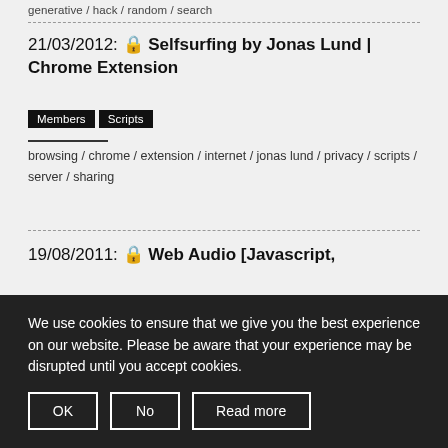generative / hack / random / search
21/03/2012: 🔒 Selfsurfing by Jonas Lund | Chrome Extension
Members   Scripts
browsing / chrome / extension / internet / jonas lund / privacy / scripts / server / sharing
19/08/2011: 🔒 Web Audio [Javascript,
We use cookies to ensure that we give you the best experience on our website. Please be aware that your experience may be disrupted until you accept cookies.
OK   No   Read more